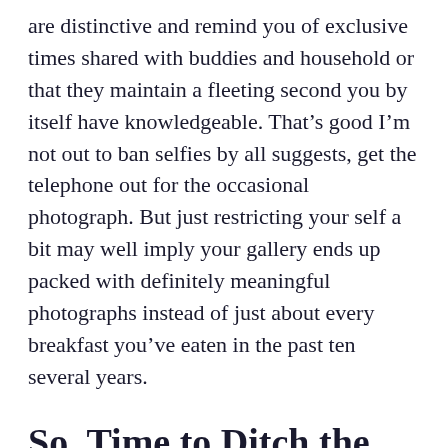are distinctive and remind you of exclusive times shared with buddies and household or that they maintain a fleeting second you by itself have knowledgeable. That’s good I’m not out to ban selfies by all suggests, get the telephone out for the occasional photograph. But just restricting your self a bit may well imply your gallery ends up packed with definitely meaningful photographs instead of just about every breakfast you’ve eaten in the past ten several years.
So, Time to Ditch the Phone?